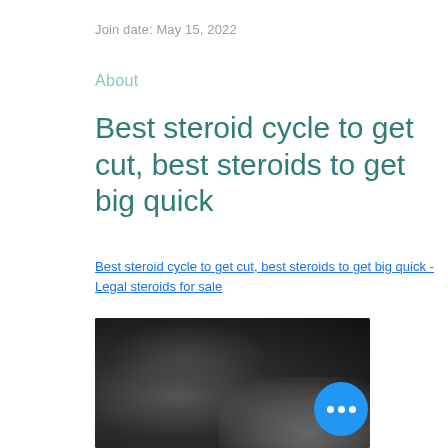Join date: May 15, 2022
About
Best steroid cycle to get cut, best steroids to get big quick
Best steroid cycle to get cut, best steroids to get big quick - Legal steroids for sale
[Figure (photo): A blurred dark photograph, partially obscured, showing indistinct content]